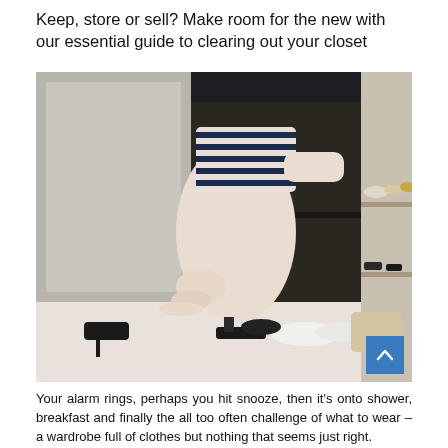Keep, store or sell? Make room for the new with our essential guide to clearing out your closet
[Figure (photo): A woman bending into a wardrobe/closet with various shoes scattered on the floor around her, and shelves of shoes visible inside the closet. She is wearing a striped top and light-colored skirt.]
Your alarm rings, perhaps you hit snooze, then it's onto shower, breakfast and finally the all too often challenge of what to wear – a wardrobe full of clothes but nothing that seems just right.